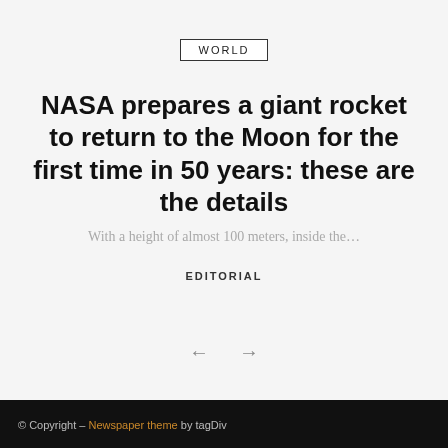WORLD
NASA prepares a giant rocket to return to the Moon for the first time in 50 years: these are the details
With a height of almost 100 meters, inside the...
EDITORIAL
© Copyright – Newspaper theme by tagDiv